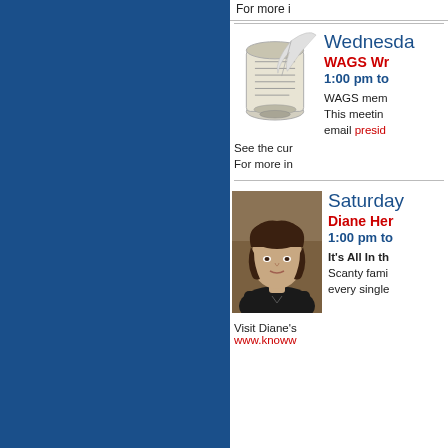For more i...
[Figure (illustration): Scroll and quill pen icon representing writing]
Wednesday
WAGS Wr...
1:00 pm to...
WAGS mem... This meeting... email presid...
See the cur...
For more in...
[Figure (photo): Portrait photo of Diane Her..., a woman with dark hair wearing a black top]
Saturday
Diane Her...
1:00 pm to...
It's All In th... Scanty fami... every single...
Visit Diane's... www.knoww...